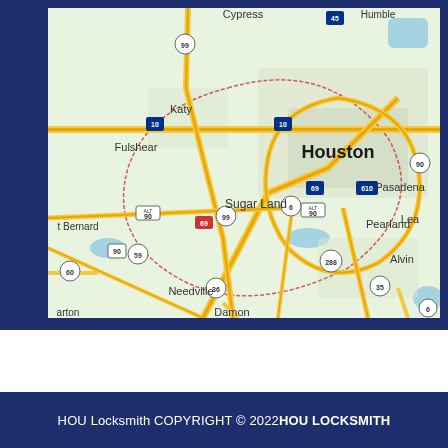[Figure (map): Google map showing Houston, TX and surrounding areas including Cypress, Katy, Fulshear, Sugar Land, Needville, Damon, Pearland, Pasadena, Alvin, Humble. Major highways including I-10, I-45, I-69, Hwy 99, Hwy 610, Hwy 288, Hwy 59, Hwy 90 alt, Hwy 6, Hwy 35, Hwy 36, Hwy 60 are shown.]
HOU Locksmith COPYRIGHT © 2022HOU LOCKSMITH